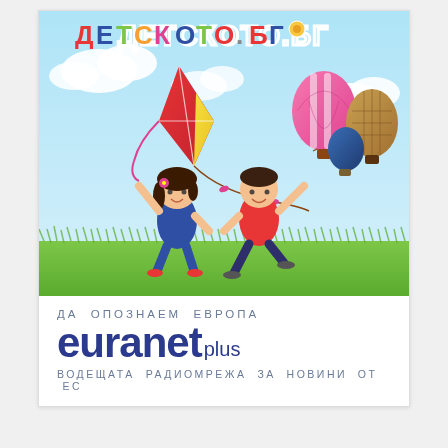[Figure (illustration): Children's website banner illustration with colorful title 'ДЕТСКОТО.БГ' at top, two cartoon children running in a field, a colorful kite, hot air balloons, grass, clouds, and blue sky background.]
ДА ОПОЗНАЕМ ЕВРОПА
euranet plus
ВОДЕЩАТА РАДИОМРЕЖА ЗА НОВИНИ ОТ ЕС